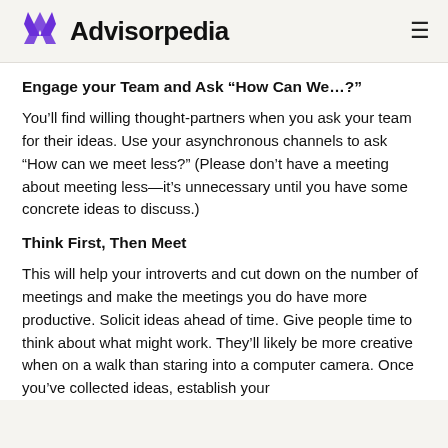Advisorpedia
Engage your Team and Ask “How Can We…?”
You’ll find willing thought-partners when you ask your team for their ideas. Use your asynchronous channels to ask “How can we meet less?” (Please don’t have a meeting about meeting less—it’s unnecessary until you have some concrete ideas to discuss.)
Think First, Then Meet
This will help your introverts and cut down on the number of meetings and make the meetings you do have more productive. Solicit ideas ahead of time. Give people time to think about what might work. They’ll likely be more creative when on a walk than staring into a computer camera. Once you’ve collected ideas, establish your